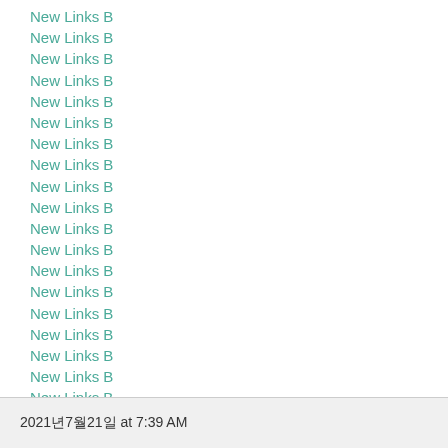New Links B
New Links B
New Links B
New Links B
New Links B
New Links B
New Links B
New Links B
New Links B
New Links B
New Links B
New Links B
New Links B
New Links B
New Links B
New Links B
New Links B
New Links B
New Links B
New Links B      fgjhhgj
2021년7월21일 at 7:39 AM